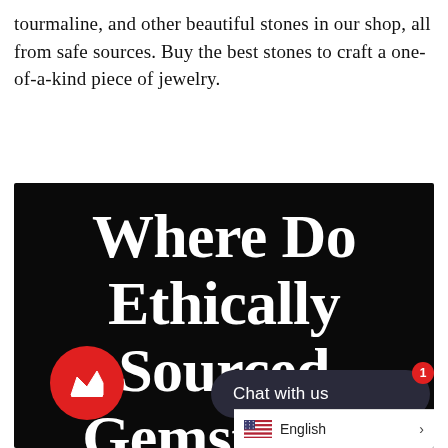tourmaline, and other beautiful stones in our shop, all from safe sources. Buy the best stones to craft a one-of-a-kind piece of jewelry.
[Figure (illustration): Black background image with large white serif bold text reading 'Where Do Ethically Sourced Gemstones Come Fr...' (text cut off at bottom). Overlaid UI elements include a red circular chat widget with a crown icon on the lower left, a dark rounded chat bubble saying 'Chat with us' with a red notification badge showing '1' on the lower right, and a language selector bar showing a US flag and 'English >' at the very bottom right.]